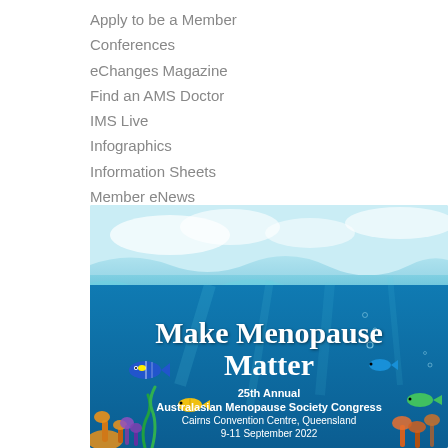Apply to be a Member
Conferences
eChanges Magazine
Find an AMS Doctor
IMS Live
Infographics
Information Sheets
Member eNews
[Figure (infographic): Make Menopause Matter - 25th Annual Australasian Menopause Society Congress, Cairns Convention Centre, Queensland, 9-11 September 2022. Underwater reef scene with tropical fish, teal and blue water backdrop.]